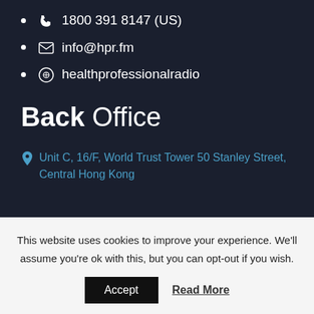1800 391 8147 (US)
info@hpr.fm
healthprofessionalradio
Back Office
Unit C, 16/F, World Trust Tower 50 Stanley Street, Central Hong Kong
This website uses cookies to improve your experience. We'll assume you're ok with this, but you can opt-out if you wish.
Accept  Read More